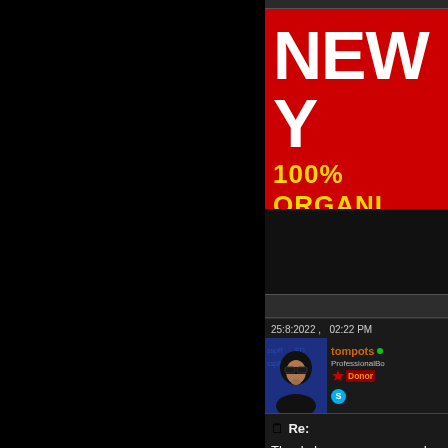[Figure (illustration): Black left panel background]
[Figure (illustration): Banner advertisement with red background showing 'NEW Y' text in white bold letters and '100% ORGANI' in yellow letters below]
25:8:2022 ,   02:22 PM
[Figure (photo): User avatar: person in black hoodie and sunglasses with blue digital background]
tompots
ProfessionalBo
Donor
Re:
Thanks! you are awesome!
MB INGRAM ED